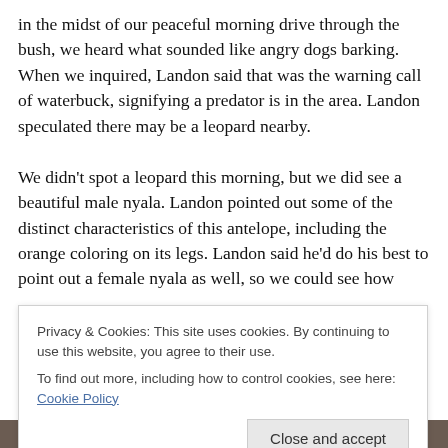in the midst of our peaceful morning drive through the bush, we heard what sounded like angry dogs barking. When we inquired, Landon said that was the warning call of waterbuck, signifying a predator is in the area. Landon speculated there may be a leopard nearby.
We didn't spot a leopard this morning, but we did see a beautiful male nyala. Landon pointed out some of the distinct characteristics of this antelope, including the orange coloring on its legs. Landon said he'd do his best to point out a female nyala as well, so we could see how vastly different these animals look based on their sex.
Privacy & Cookies: This site uses cookies. By continuing to use this website, you agree to their use.
To find out more, including how to control cookies, see here: Cookie Policy
Close and accept
[Figure (photo): Bottom strip of a nature/wildlife photo, partially visible at the bottom of the page]